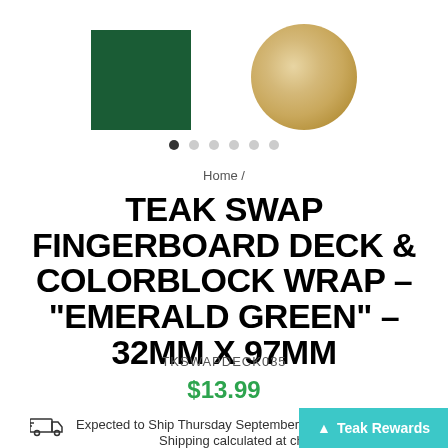[Figure (photo): Product image showing a dark emerald green square swatch and a circular wood-grain teak disc on white background]
[Figure (infographic): Carousel navigation dots: 6 dots, first one filled dark, others light gray]
Home /
TEAK SWAP FINGERBOARD DECK & COLORBLOCK WRAP - "EMERALD GREEN" - 32MM X 97MM
TKSWAPDECK035
$13.99
Expected to Ship Thursday September 01
Shipping calculated at check
Teak Rewards